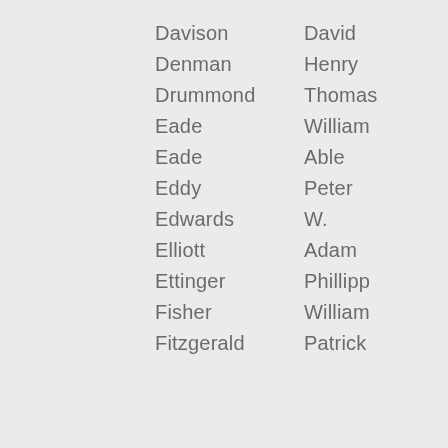Davison   David
Denman   Henry
Drummond   Thomas
Eade   William
Eade   Able
Eddy   Peter
Edwards   W.
Elliott   Adam
Ettinger   Phillipp
Fisher   William
Fitzgerald   Patrick